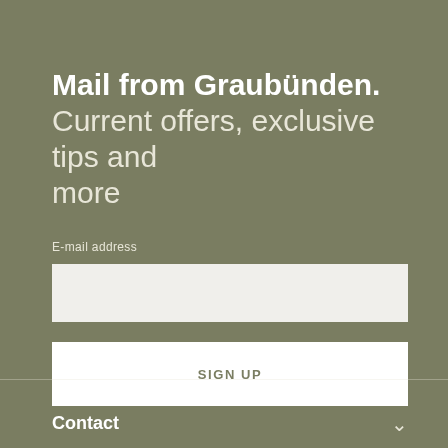Mail from Graubünden. Current offers, exclusive tips and more
E-mail address
[Figure (other): Email input text field, light grey background]
[Figure (other): SIGN UP button, white background with olive text]
Contact